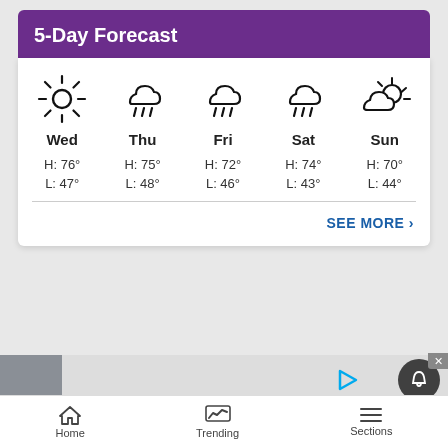5-Day Forecast
[Figure (infographic): 5-day weather forecast widget showing icons and temperatures for Wed through Sun. Wed: sunny, H:76° L:47°. Thu: rain, H:75° L:48°. Fri: rain, H:72° L:46°. Sat: rain, H:74° L:43°. Sun: partly cloudy, H:70° L:44°.]
SEE MORE
[Figure (infographic): Advertisement banner with gray box, play button, bell notification icon, and close X button]
Home   Trending   Sections